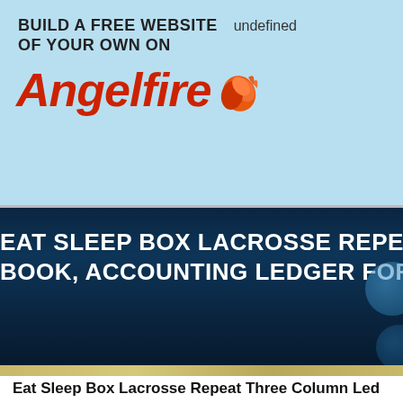[Figure (screenshot): Angelfire advertisement banner with light blue background showing 'BUILD A FREE WEBSITE OF YOUR OWN ON Angelfire' with flame logo and 'undefined' text]
EAT SLEEP BOX LACROSSE REPEAT TH BOOK, ACCOUNTING LEDGER FOR KIDS
Eat Sleep Box Lacrosse Repeat Three Column Ledg